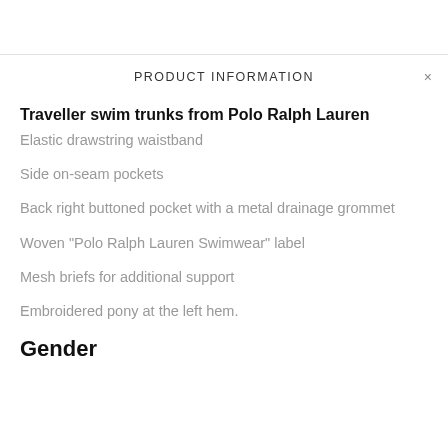PRODUCT INFORMATION
Traveller swim trunks from Polo Ralph Lauren
Elastic drawstring waistband
Side on-seam pockets
Back right buttoned pocket with a metal drainage grommet
Woven "Polo Ralph Lauren Swimwear" label
Mesh briefs for additional support
Embroidered pony at the left hem.
Gender